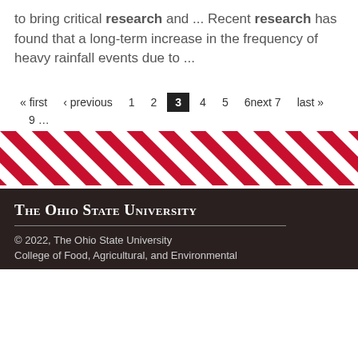to bring critical research and ... Recent research has found that a long-term increase in the frequency of heavy rainfall events due to ...
« first ‹ previous 1 2 3 4 5 6next 7 last » 9 ...
[Figure (other): Diagonal red and white striped decorative banner]
The Ohio State University
© 2022, The Ohio State University
College of Food, Agricultural, and Environmental